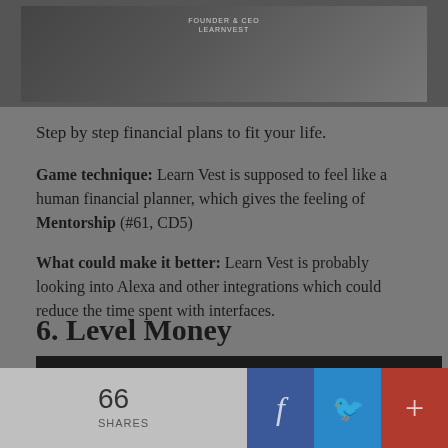[Figure (photo): Screenshot of a website header showing a person at a desk, with text overlay reading 'FOUNDER & CEO LEARNVEST']
Step by step financial plans to fit your life.
Game technique: Learn Vest is supposed to feel like a human financial planner, which gives the feeling of Mentorship (#61, CD5)
What could make it better: Learn Vest is probably looking into Alexa and other integrations which could reduce the time spent with interfaces.
6. Level Money
[Figure (screenshot): Bottom edge of a dark image strip]
66 SHARES